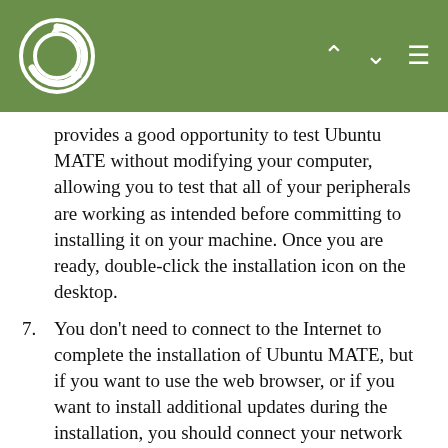Ubuntu MATE navigation header
provides a good opportunity to test Ubuntu MATE without modifying your computer, allowing you to test that all of your peripherals are working as intended before committing to installing it on your machine. Once you are ready, double-click the installation icon on the desktop.
7. You don't need to connect to the Internet to complete the installation of Ubuntu MATE, but if you want to use the web browser, or if you want to install additional updates during the installation, you should connect your network cable, or connect to Wi-Fi. Click the Network Manager icon in the upper right corner of the screen (near the clock) and select your SSID for your wireless network. If prompted, enter the passcode, click the Connect button and you will be connected.
8. To begin the installation, double-click the install...